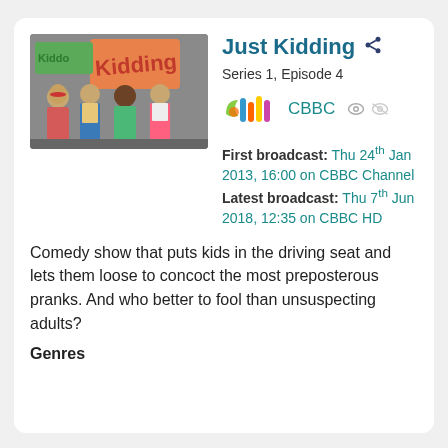[Figure (photo): Photo of four teenage girls standing in front of a graffiti wall, promotional image for the show Just Kidding]
Just Kidding
Series 1, Episode 4
[Figure (logo): CBBC channel logo]
CBBC
First broadcast: Thu 24th Jan 2013, 16:00 on CBBC Channel Latest broadcast: Thu 7th Jun 2018, 12:35 on CBBC HD
Comedy show that puts kids in the driving seat and lets them loose to concoct the most preposterous pranks. And who better to fool than unsuspecting adults?
Genres